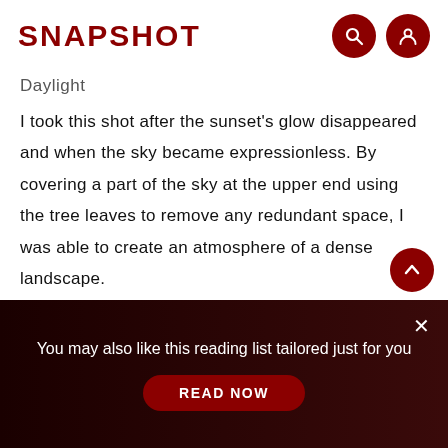SNAPSHOT
Daylight
I took this shot after the sunset's glow disappeared and when the sky became expressionless. By covering a part of the sky at the upper end using the tree leaves to remove any redundant space, I was able to create an atmosphere of a dense landscape.
In landscape shots with lakes as the subject, the rising or setting sun is often included in the composition. However, one of the
You may also like this reading list tailored just for you